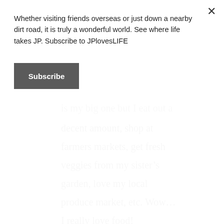Whether visiting friends overseas or just down a nearby dirt road, it is truly a wonderful world. See where life takes JP. Subscribe to JPlovesLIFE
Subscribe
is my big one but I eat out a decent amount, shop at farmers markets, get fresh veggies from my sister’s garden, love my local produce market, etc. Wow… I really love food!